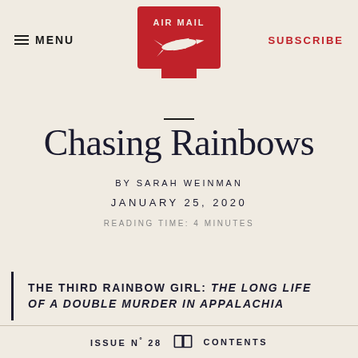≡ MENU | AIR MAIL (logo) | SUBSCRIBE
Chasing Rainbows
BY SARAH WEINMAN
JANUARY 25, 2020
READING TIME: 4 MINUTES
THE THIRD RAINBOW GIRL: THE LONG LIFE OF A DOUBLE MURDER IN APPALACHIA
ISSUE Nº 28  [book icon]  CONTENTS